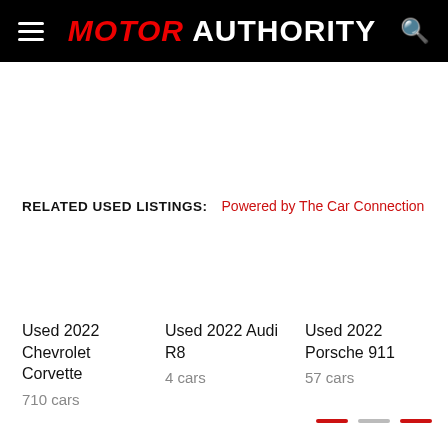MOTOR AUTHORITY
RELATED USED LISTINGS: Powered by The Car Connection
Used 2022 Chevrolet Corvette
710 cars
Used 2022 Audi R8
4 cars
Used 2022 Porsche 911
57 cars